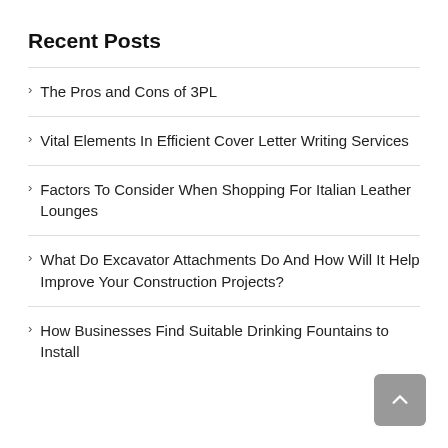Recent Posts
The Pros and Cons of 3PL
Vital Elements In Efficient Cover Letter Writing Services
Factors To Consider When Shopping For Italian Leather Lounges
What Do Excavator Attachments Do And How Will It Help Improve Your Construction Projects?
How Businesses Find Suitable Drinking Fountains to Install